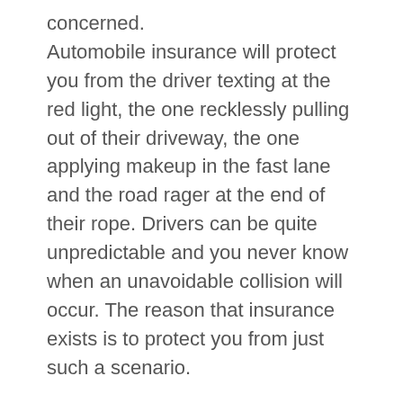concerned. Automobile insurance will protect you from the driver texting at the red light, the one recklessly pulling out of their driveway, the one applying makeup in the fast lane and the road rager at the end of their rope. Drivers can be quite unpredictable and you never know when an unavoidable collision will occur. The reason that insurance exists is to protect you from just such a scenario.
It Is the Law
Everyone who gets behind the wheel is required by law to have minimal insurance.